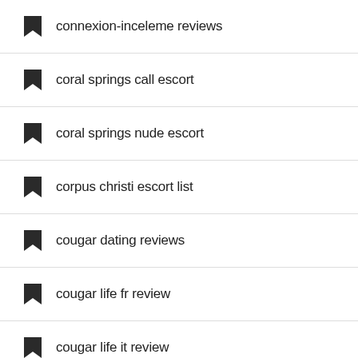connexion-inceleme reviews
coral springs call escort
coral springs nude escort
corpus christi escort list
cougar dating reviews
cougar life fr review
cougar life it review
Cougar Life numero di telefono